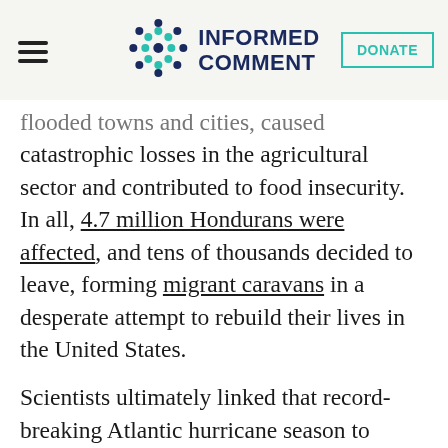Informed Comment [logo] DONATE
flooded towns and cities, caused catastrophic losses in the agricultural sector and contributed to food insecurity. In all, 4.7 million Hondurans were affected, and tens of thousands decided to leave, forming migrant caravans in a desperate attempt to rebuild their lives in the United States.
Scientists ultimately linked that record-breaking Atlantic hurricane season to climate change, making it clear that climate change is already influencing migration.
My research studies the relationship...